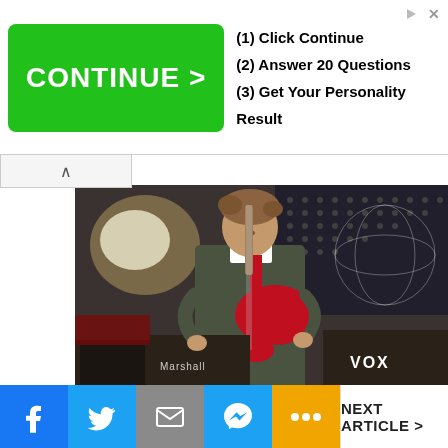[Figure (infographic): Advertisement banner with green CONTINUE > button and three steps: (1) Click Continue, (2) Answer 20 Questions, (3) Get Your Personality Result]
[Figure (photo): Musician playing a red electric guitar on stage, wearing an olive jacket, with Marshall amp and VOX amp visible in background, stage lighting and dotted screen backdrop]
[Figure (infographic): Social media share bar with Facebook, Twitter, email, Messenger, and more buttons, and NEXT ARTICLE > button on the right]